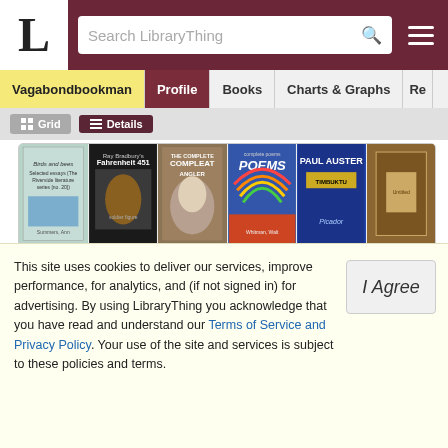LibraryThing - Search LibraryThing
Vagabondbookman | Profile | Books | Charts & Graphs | Re…
[Figure (screenshot): Grid of 12 book covers in two rows of 6: Birds and bees Selected essays, Ray Bradbury's Fahrenheit 451, The Complete Compleat Angler, Poems (rainbow cover), Paul Auster, and an unlabeled brown cover in row 1; Dinosaurs, Chapter and Hearse, Robert A. Heinlein All You Zombies, Organize Your Life (CD), Lost in a Good Book, Nevil Shute In the Wet in row 2.]
This site uses cookies to deliver our services, improve performance, for analytics, and (if not signed in) for advertising. By using LibraryThing you acknowledge that you have read and understand our Terms of Service and Privacy Policy. Your use of the site and services is subject to these policies and terms.